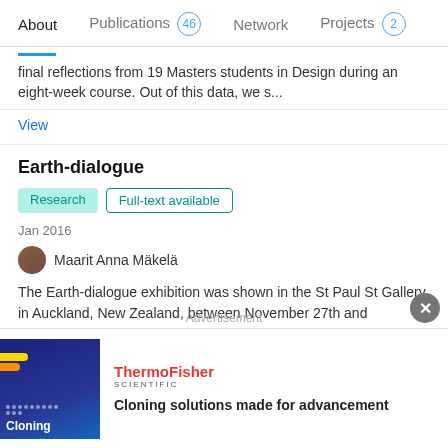About | Publications 46 | Network | Projects 2
final reflections from 19 Masters students in Design during an eight-week course. Out of this data, we s...
View
Earth-dialogue
Research | Full-text available
Jan 2016
Maarit Anna Mäkelä
The Earth-dialogue exhibition was shown in the St Paul St Gallery in Auckland, New Zealand, between November 27th and December 11th 2015. The core of my artistic practice is the local, natural environment and in particular earth samples l...
[Figure (other): Advertisement banner for ThermoFisher Scientific - Cloning solutions made for advancement]